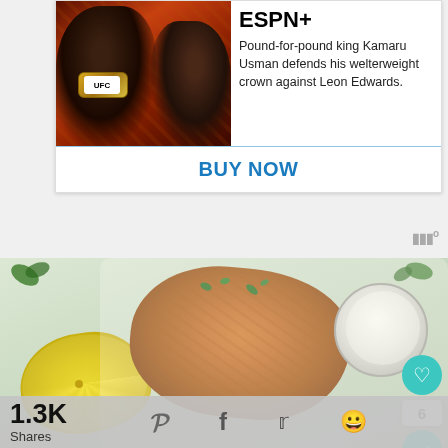[Figure (screenshot): ESPN+ advertisement banner showing UFC fighters Kamaru Usman and Leon Edwards facing off, with text about Usman defending his welterweight crown and a BUY NOW button]
[Figure (photo): Food photo showing breaded fried cutlet with lemon wedge, herbs, and a bowl of white dipping sauce on a light background]
1.3K Shares